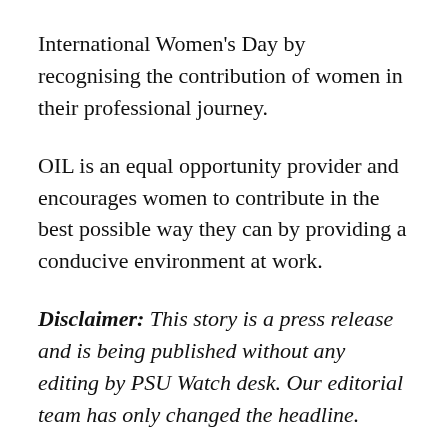International Women's Day by recognising the contribution of women in their professional journey.
OIL is an equal opportunity provider and encourages women to contribute in the best possible way they can by providing a conducive environment at work.
Disclaimer: This story is a press release and is being published without any editing by PSU Watch desk. Our editorial team has only changed the headline.
(PSU Watch– India's Business News centre that places the spotlight on PSUs, Bureaucracy, Defence